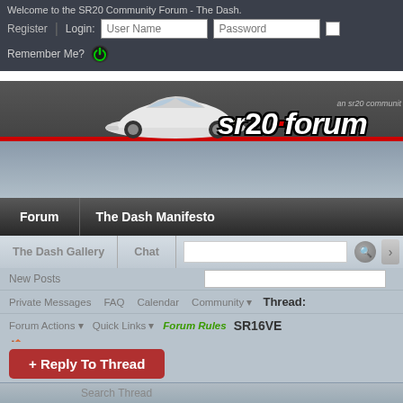Welcome to the SR20 Community Forum - The Dash.
Register | Login: User Name  Password
Remember Me?
[Figure (logo): sr20.forum logo with white car and red dot, dark banner]
Forum  |  The Dash Manifesto
The Dash Gallery  |  Chat
New Posts
Private Messages   FAQ   Calendar   Community ▾   Thread: SR16VE
Forum Actions ▾   Quick Links ▾   Forum Rules   gearbox on a SR20VE engine
🏠   Advanced Search
→   SR20 Community   →   VVL   →   SR16VE gearbox on a SR20VE engine
+ Reply To Thread
First  ◄  1  2  3  4
Search Thread